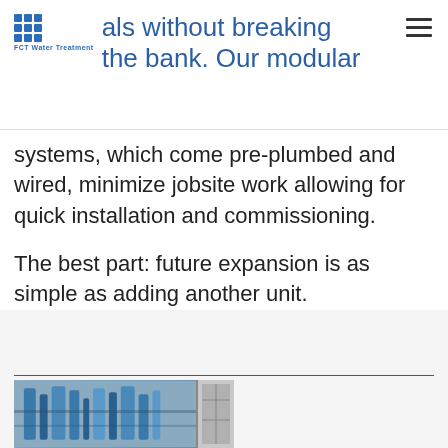als without breaking the bank. Our modular
systems, which come pre-plumbed and wired, minimize jobsite work allowing for quick installation and commissioning.
The best part: future expansion is as simple as adding another unit.
[Figure (photo): Industrial water treatment equipment or piping system, partially visible at bottom of page]